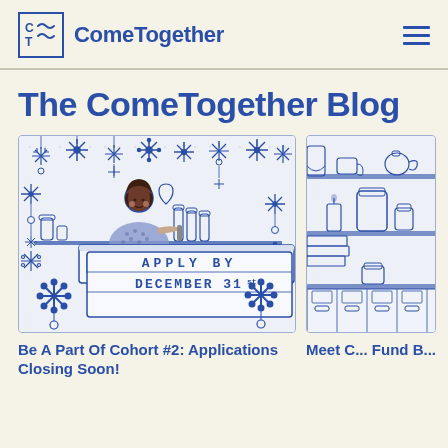ComeTogether
The ComeTogether Blog
[Figure (illustration): Illustrated scene of a barista/shop worker behind a counter with hanging snowflake decorations. A sign reads 'APPLY BY DECEMBER 31st']
Be A Part Of Cohort #2: Applications Closing Soon!
[Figure (illustration): Partial illustration of a cafe/shop scene with shelves, cups, and bottles visible. Partially cropped on the right side of the page.]
Meet C... Fund B...